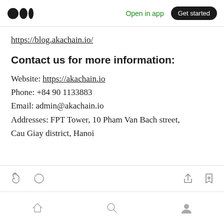Open in app | Get started
https://blog.akachain.io/
Contact us for more information:
Website: https://akachain.io
Phone: +84 90 1133883
Email: admin@akachain.io
Addresses: FPT Tower, 10 Pham Van Bach street, Cau Giay district, Hanoi